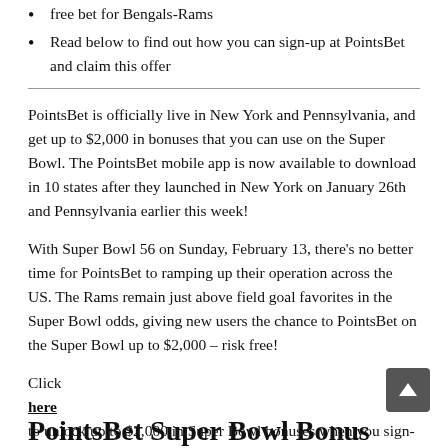free bet for Bengals-Rams
Read below to find out how you can sign-up at PointsBet and claim this offer
PointsBet is officially live in New York and Pennsylvania, and get up to $2,000 in bonuses that you can use on the Super Bowl. The PointsBet mobile app is now available to download in 10 states after they launched in New York on January 26th and Pennsylvania earlier this week!
With Super Bowl 56 on Sunday, February 13, there's no better time for PointsBet to ramping up their operation across the US. The Rams remain just above field goal favorites in the Super Bowl odds, giving new users the chance to PointsBet on the Super Bowl up to $2,000 – risk free!
Click here to unlock up to $2,000 in Super Bowl bonuses when you sign-up at PointsBet
PointsBet Super Bowl Bonus